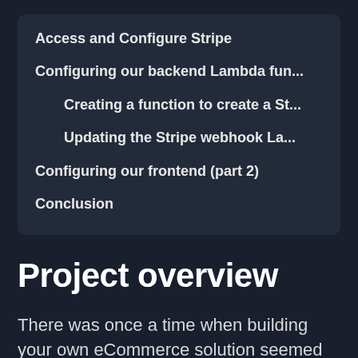Access and Configure Stripe
Configuring our backend Lambda fun...
Creating a function to create a St...
Updating the Stripe webhook La...
Configuring our frontend (part 2)
Conclusion
Project overview
There was once a time when building your own eCommerce solution seemed like a daunting and complex task. In truth it is. However, amazing